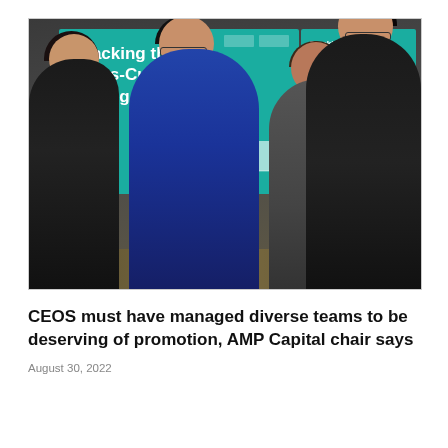[Figure (photo): Four women at a corporate event. A large teal presentation screen in the background reads 'Cracking the Glass-Cultural Ceiling'. One woman in a blue top is speaking, holding papers, while the others face her. A second smaller screen on the right repeats the same title partially.]
CEOS must have managed diverse teams to be deserving of promotion, AMP Capital chair says
August 30, 2022